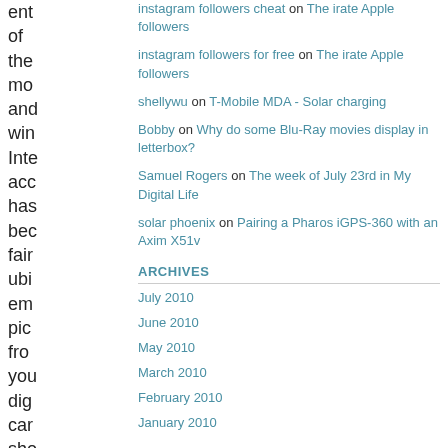ent of the mo and win Inte acc has bec fair ubi em pic fro you dig car sho be get eas I fir
instagram followers cheat on The irate Apple followers
instagram followers for free on The irate Apple followers
shellywu on T-Mobile MDA - Solar charging
Bobby on Why do some Blu-Ray movies display in letterbox?
Samuel Rogers on The week of July 23rd in My Digital Life
solar phoenix on Pairing a Pharos iGPS-360 with an Axim X51v
ARCHIVES
July 2010
June 2010
May 2010
March 2010
February 2010
January 2010